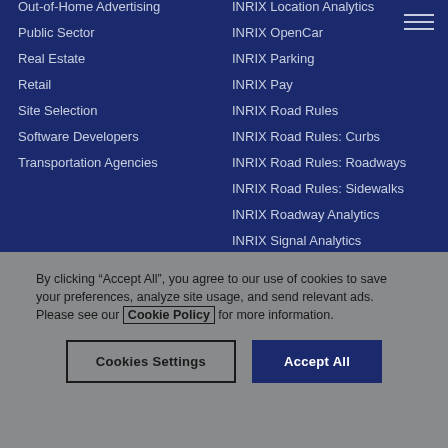Out-of-Home Advertising
Public Sector
Real Estate
Retail
Site Selection
Software Developers
Transportation Agencies
INRIX Location Analytics
INRIX OpenCar
INRIX Parking
INRIX Pay
INRIX Road Rules
INRIX Road Rules: Curbs
INRIX Road Rules: Roadways
INRIX Road Rules: Sidewalks
INRIX Roadway Analytics
INRIX Signal Analytics
INRIX Smart Alerts
INRIX Trade Area Analytics
By clicking “Accept All”, you agree to our use of cookies to save your preferences, analyze site usage, and send relevant ads.
Please see our Cookie Policy for more information.
Cookies Settings
Accept All